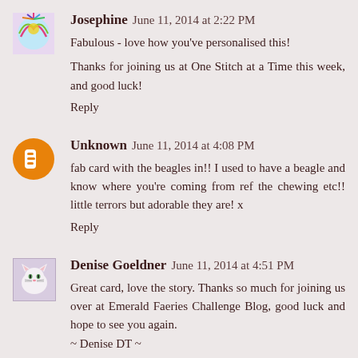Josephine  June 11, 2014 at 2:22 PM
Fabulous - love how you've personalised this!
Thanks for joining us at One Stitch at a Time this week, and good luck!
Reply
Unknown  June 11, 2014 at 4:08 PM
fab card with the beagles in!! I used to have a beagle and know where you're coming from ref the chewing etc!! little terrors but adorable they are! x
Reply
Denise Goeldner  June 11, 2014 at 4:51 PM
Great card, love the story. Thanks so much for joining us over at Emerald Faeries Challenge Blog, good luck and hope to see you again.
~ Denise DT ~